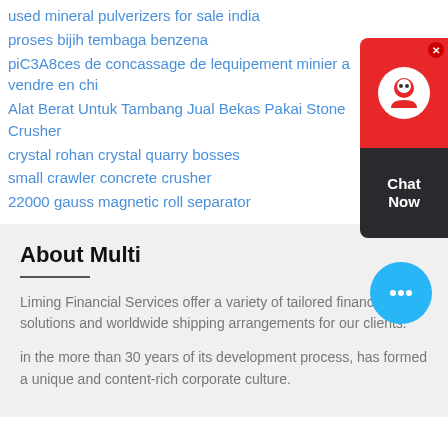used mineral pulverizers for sale india
proses bijih tembaga benzena
piC3A8ces de concassage de lequipement minier a vendre en chi
Alat Berat Untuk Tambang Jual Bekas Pakai Stone Crusher
crystal rohan crystal quarry bosses
small crawler concrete crusher
22000 gauss magnetic roll separator
[Figure (other): Chat Now widget with red top section showing headset icon and dark bottom section with Chat Now text]
About Multi
Liming Financial Services offer a variety of tailored financing solutions and worldwide shipping arrangements for our clients.
in the more than 30 years of its development process, has formed a unique and content-rich corporate culture.
[Figure (other): Blue circular chat bubble button with ellipsis icon]